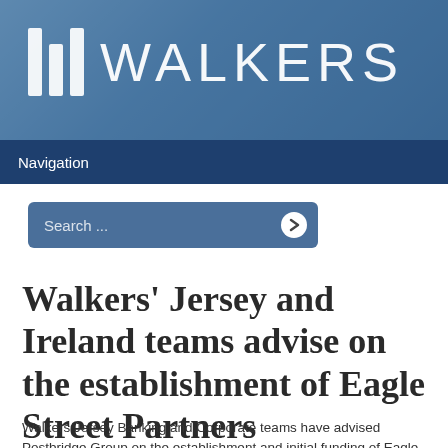[Figure (logo): Walkers law firm logo — three vertical bars followed by the word WALKERS in large sans-serif letters, displayed on a blue photographic banner background]
Navigation
[Figure (other): Search input box with placeholder text 'Search ...' and a circular arrow/chevron button on the right]
Walkers' Jersey and Ireland teams advise on the establishment of Eagle Street Partners
Walkers Jersey Banking and Corporate teams have advised Postbridge Group on the establishment and initial funding of Eagle Street Partners, a pan-